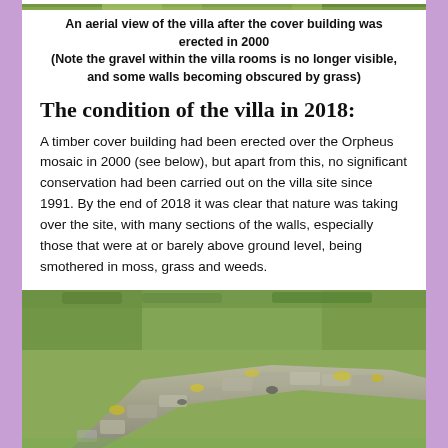[Figure (photo): Aerial view of the villa after cover building erected in 2000 — narrow strip visible at top]
An aerial view of the villa after the cover building was erected in 2000 (Note the gravel within the villa rooms is no longer visible, and some walls becoming obscured by grass)
The condition of the villa in 2018:
A timber cover building had been erected over the Orpheus mosaic in 2000 (see below), but apart from this, no significant conservation had been carried out on the villa site since 1991. By the end of 2018 it was clear that nature was taking over the site, with many sections of the walls, especially those that were at or barely above ground level, being smothered in moss, grass and weeds.
[Figure (photo): Ground-level photograph of a low stone wall covered in moss, lichen and yellow patches, set in a grassy field]